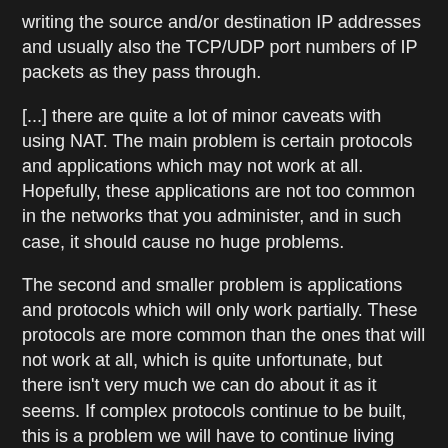writing the source and/or destination IP addresses and usually also the TCP/UDP port numbers of IP packets as they pass through.
[...] there are quite a lot of minor caveats with using NAT. The main problem is certain protocols and applications which may not work at all. Hopefully, these applications are not too common in the networks that you administer, and in such case, it should cause no huge problems.
The second and smaller problem is applications and protocols which will only work partially. These protocols are more common than the ones that will not work at all, which is quite unfortunate, but there isn't very much we can do about it as it seems. If complex protocols continue to be built, this is a problem we will have to continue living with. Especially if the protocols aren't standardized.
The third, and largest problem, in my point of view, is the fact that the user who sits behind a NAT server to get out on the internet will not be able to run his own server. It could be done, of course, but it takes a lot more time and work to set